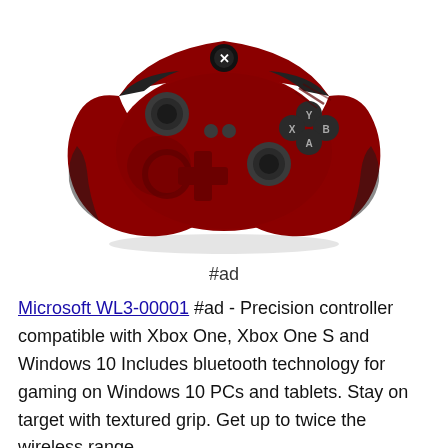[Figure (photo): A Gears of War special edition Xbox One wireless controller in dark red with skull and gear motifs, Xbox logo at top center, gray analog sticks, dark red D-pad, and labeled face buttons (A, B, X, Y).]
#ad
Microsoft WL3-00001 #ad - Precision controller compatible with Xbox One, Xbox One S and Windows 10 Includes bluetooth technology for gaming on Windows 10 PCs and tablets. Stay on target with textured grip. Get up to twice the wireless range compared to previous Xbox One Controllers at up to